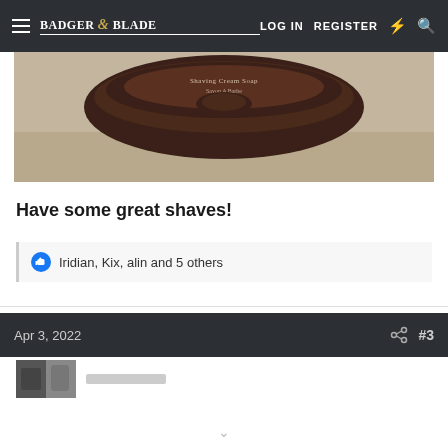Badger & Blade — LOG IN  REGISTER
[Figure (photo): Close-up top-down photo of a round shaving cream soap tin/puck with text 'Shaving Cream Soap Savon A Barbe' on a beige/tan background]
Have some great shaves!
Iridian, Kix, alin and 5 others
Apr 3, 2022  #3
[Figure (photo): Partially visible user avatar thumbnail at the bottom of the page]